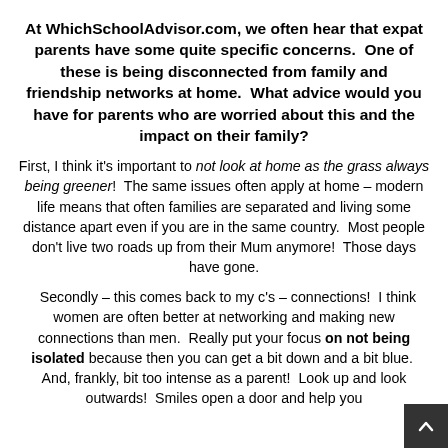At WhichSchoolAdvisor.com, we often hear that expat parents have some quite specific concerns.  One of these is being disconnected from family and friendship networks at home.  What advice would you have for parents who are worried about this and the impact on their family?
First, I think it's important to not look at home as the grass always being greener!  The same issues often apply at home – modern life means that often families are separated and living some distance apart even if you are in the same country.  Most people don't live two roads up from their Mum anymore!  Those days have gone.
Secondly – this comes back to my c's – connections!  I think women are often better at networking and making new connections than men.  Really put your focus on not being isolated because then you can get a bit down and a bit blue.  And, frankly, bit too intense as a parent!  Look up and look outwards!  Smiles open a door and help you